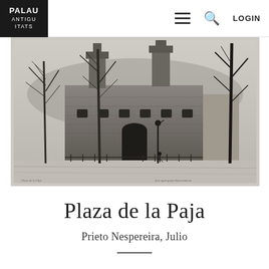PALAU ANTIGUITATS | LOGIN
[Figure (illustration): Black and white etching of Plaza de la Paja showing a historic stone building with a church tower, bare winter trees, and a street lamp. People are visible in the foreground. Artist signature and title inscription visible at bottom of the etching.]
Plaza de la Paja
Prieto Nespereira, Julio